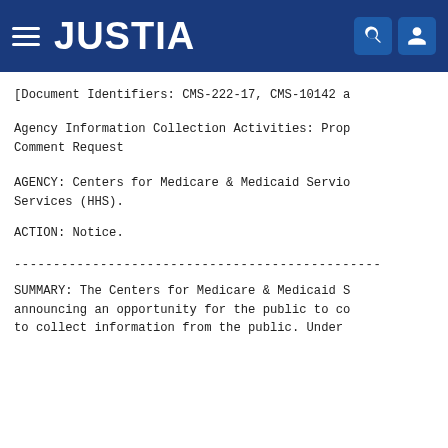JUSTIA
[Document Identifiers: CMS-222-17, CMS-10142 a
Agency Information Collection Activities: Prop Comment Request
AGENCY: Centers for Medicare & Medicaid Servio Services (HHS).
ACTION: Notice.
-----------------------------------------------
SUMMARY: The Centers for Medicare & Medicaid S announcing an opportunity for the public to co to collect information from the public. Under